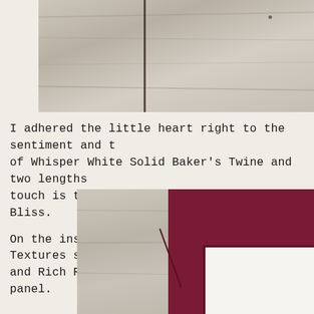[Figure (photo): Top photo showing whitewashed wood texture background with a card, partially cropped at left edge. Wood grain visible with a dark vertical stripe and small nail/dot.]
I adhered the little heart right to the sentiment and t... of Whisper White Solid Baker's Twine and two lengths ... touch is three Faceted Dots in Blackberry Bliss.
On the inside, I added more Timeless Textures splatter... and Rich Razzleberry to a Whisper White panel.
[Figure (photo): Bottom photo showing a card inside with deep red/Rich Razzleberry cardstock, whitewashed wood background, and a white panel with dark border visible.]